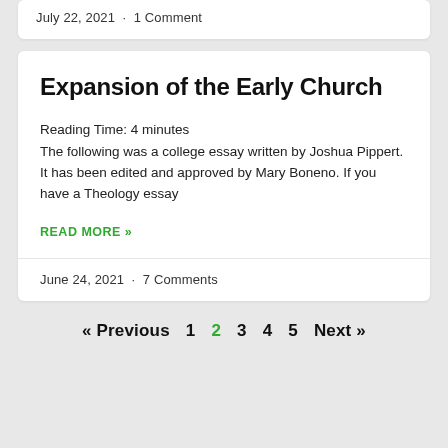July 22, 2021  •  1 Comment
Expansion of the Early Church
Reading Time: 4 minutes
The following was a college essay written by Joshua Pippert. It has been edited and approved by Mary Boneno. If you have a Theology essay
READ MORE »
June 24, 2021  •  7 Comments
« Previous  1  2  3  4  5  Next »